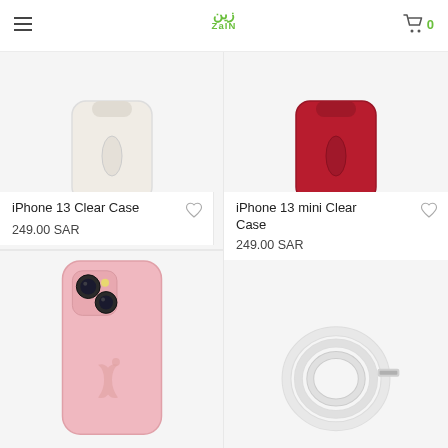Zain — hamburger menu, cart (0)
[Figure (photo): iPhone 13 Clear Case product photo - white/cream transparent case on light gray background]
iPhone 13 Clear Case
249.00 SAR
[Figure (photo): iPhone 13 mini Clear Case product photo - red case on light gray background]
iPhone 13 mini Clear Case
249.00 SAR
[Figure (photo): Pink iPhone silicone case product photo on light gray background]
[Figure (photo): USB cable coiled on light gray background]